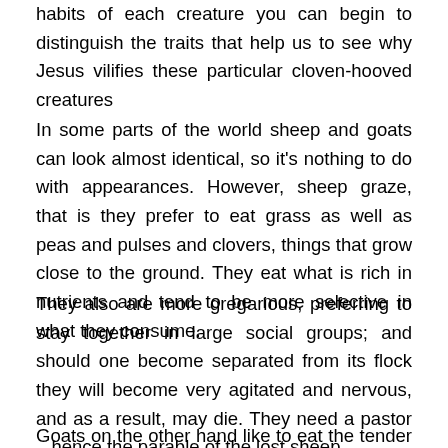habits of each creature you can begin to distinguish the traits that help us to see why Jesus vilifies these particular cloven-hooved creatures
In some parts of the world sheep and goats can look almost identical, so it's nothing to do with appearances. However, sheep graze, that is they prefer to eat grass as well as peas and pulses and clovers, things that grow close to the ground. They eat what is rich in nutrients and tend to be more selective in what they consume.
They also are more gregarious, preferring to stay together in large social groups; and should one become separated from its flock they will become very agitated and nervous, and as a result, may die. They need a pastor – hence the parable of the lost sheep.
Goats on the other hand like to eat the tender leaves of